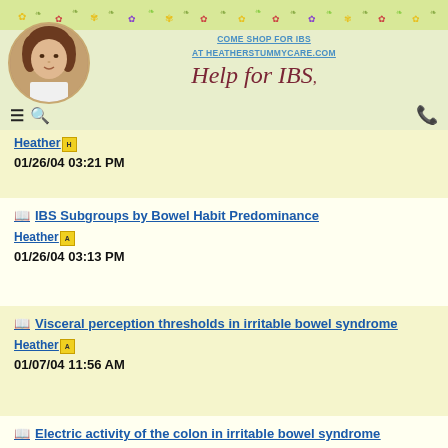[Figure (illustration): Website header for Help for IBS with floral decoration strip, circular profile photo of Heather (woman with curly brown hair), site title in cursive script reading 'Help for IBS', top navigation links to heatherstummycare.com, hamburger menu icon, search icon, and phone icon]
Heather [A icon] 01/26/04 03:21 PM
IBS Subgroups by Bowel Habit Predominance
Heather [A icon]
01/26/04 03:13 PM
Visceral perception thresholds in irritable bowel syndrome
Heather [A icon]
01/07/04 11:56 AM
Electric activity of the colon in irritable bowel syndrome
Heather [A icon]